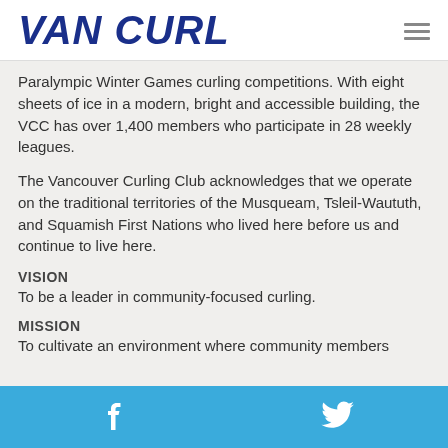VAN CURL
Paralympic Winter Games curling competitions. With eight sheets of ice in a modern, bright and accessible building, the VCC has over 1,400 members who participate in 28 weekly leagues.
The Vancouver Curling Club acknowledges that we operate on the traditional territories of the Musqueam, Tsleil-Waututh, and Squamish First Nations who lived here before us and continue to live here.
VISION
To be a leader in community-focused curling.
MISSION
To cultivate an environment where community members
f  [Twitter bird icon]